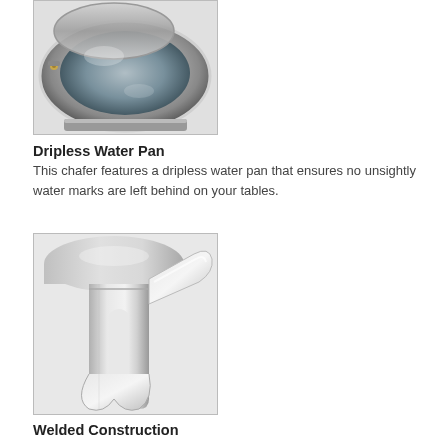[Figure (photo): Close-up photo of a stainless steel chafer dripless water pan with hinge mechanism visible]
Dripless Water Pan
This chafer features a dripless water pan that ensures no unsightly water marks are left behind on your tables.
[Figure (photo): Close-up photo of a stainless steel chafer welded leg/handle construction]
Welded Construction
Its solid legs and welded construction allow this chafer to deliver reliable performance over the source of countless